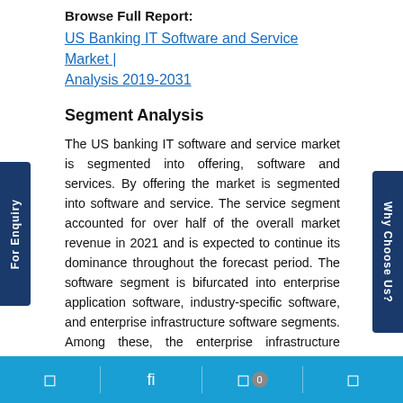Browse Full Report:
US Banking IT Software and Service Market | Analysis 2019-2031
Segment Analysis
The US banking IT software and service market is segmented into offering, software and services. By offering the market is segmented into software and service. The service segment accounted for over half of the overall market revenue in 2021 and is expected to continue its dominance throughout the forecast period. The software segment is bifurcated into enterprise application software, industry-specific software, and enterprise infrastructure software segments. Among these, the enterprise infrastructure software segment dominated the market in the country in 2021 . However, enterprise application software segment is expected to
For Enquiry | fi | 0 | Why Choose Us?